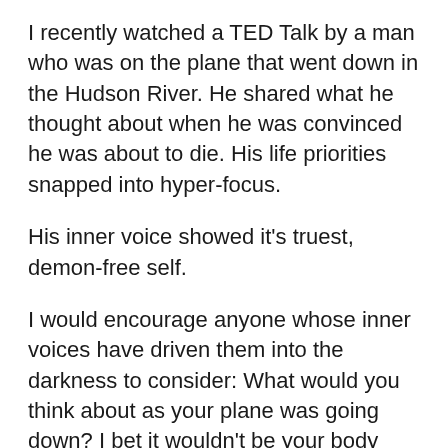I recently watched a TED Talk by a man who was on the plane that went down in the Hudson River. He shared what he thought about when he was convinced he was about to die. His life priorities snapped into hyper-focus.
His inner voice showed it's truest, demon-free self.
I would encourage anyone whose inner voices have driven them into the darkness to consider: What would you think about as your plane was going down? I bet it wouldn't be your body issues or the nasty voices in your head. I bet it would be something much stronger and truer.
I would think of my how badly I want to watch my kids grow up, about the decades I want to spend beside my husband.
I keep the fight against my greatest fears and towards my